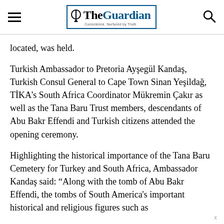The Guardian — Conscience, Nurtured by Truth
located, was held.
Turkish Ambassador to Pretoria Ayşegül Kandaş, Turkish Consul General to Cape Town Sinan Yeşildağ, TİKA's South Africa Coordinator Mükremin Çakır as well as the Tana Baru Trust members, descendants of Abu Bakr Effendi and Turkish citizens attended the opening ceremony.
Highlighting the historical importance of the Tana Baru Cemetery for Turkey and South Africa, Ambassador Kandaş said: “Along with the tomb of Abu Bakr Effendi, the tombs of South America's important historical and religious figures such as